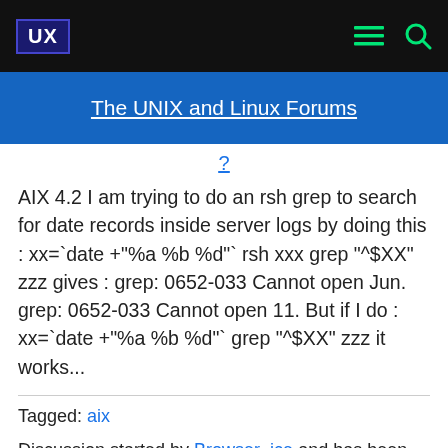UX  The UNIX and Linux Forums
? AIX 4.2 I am trying to do an rsh grep to search for date records inside server logs by doing this : xx=`date +"%a %b %d"` rsh xxx grep "^$XX" zzz gives : grep: 0652-033 Cannot open Jun. grep: 0652-033 Cannot open 11. But if I do : xx=`date +"%a %b %d"` grep "^$XX" zzz it works...
Tagged: aix
Discussion started by Browser_ice and has been viewed 8,090 times.